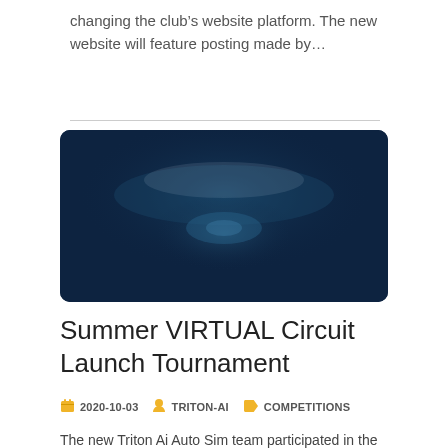changing the club's website platform. The new website will feature posting made by…
[Figure (photo): Dark navy blue blurred background image with soft light glows, used as article thumbnail]
Summer VIRTUAL Circuit Launch Tournament
2020-10-03  TRITON-AI  COMPETITIONS
The new Triton Ai Auto Sim team participated in the